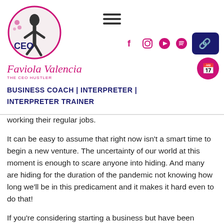[Figure (logo): CEO Hustler logo: circular logo with silhouette of woman, text 'Faviola Valencia' in cursive pink, subtitle 'the ceo hustler']
BUSINESS COACH | INTERPRETER | INTERPRETER TRAINER
working their regular jobs.
It can be easy to assume that right now isn't a smart time to begin a new venture. The uncertainty of our world at this moment is enough to scare anyone into hiding. And many are hiding for the duration of the pandemic not knowing how long we'll be in this predicament and it makes it hard even to do that!
If you're considering starting a business but have been putting it on hold, you're not alone. There are ways to help yourself launch, even now. The CEO Hustler can guide you through the process so you don't have to go it alone. Here are a few more ideas to help you get started: